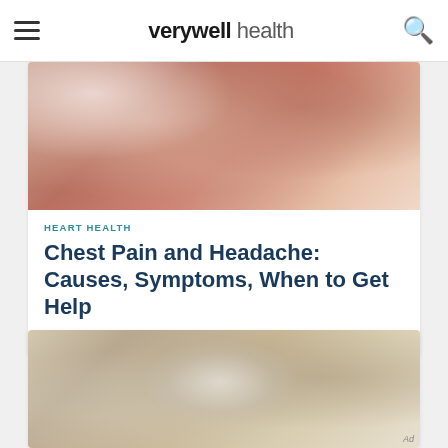verywell health
[Figure (photo): Woman lying on bed, wearing red/terracotta top, holding her chest, head resting on pillow]
HEART HEALTH
Chest Pain and Headache: Causes, Symptoms, When to Get Help
Medically reviewed by Michael Menna, DO
[Figure (photo): Elderly woman with gray hair leaning forward, head in hands, appearing distressed, another person beside her]